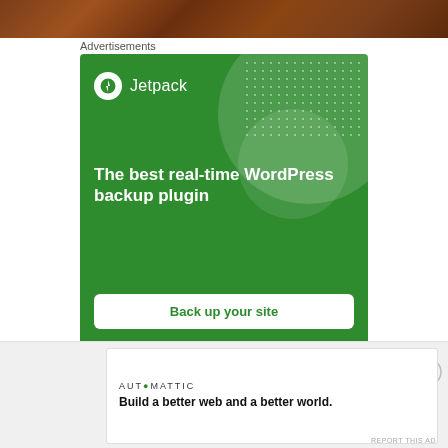[Figure (photo): Wood texture image at top of page]
Advertisements
[Figure (illustration): Jetpack advertisement banner on green background. Logo with lightning bolt icon and 'Jetpack' text. Tagline: 'The best real-time WordPress backup plugin'. Button: 'Back up your site'.]
REPORT THIS AD
Share this:
Advertisements
[Figure (illustration): Automattic advertisement. Company name 'AUTOMATTIC' in spaced caps. Tagline: 'Build a better web and a better world.']
REPORT THIS AD